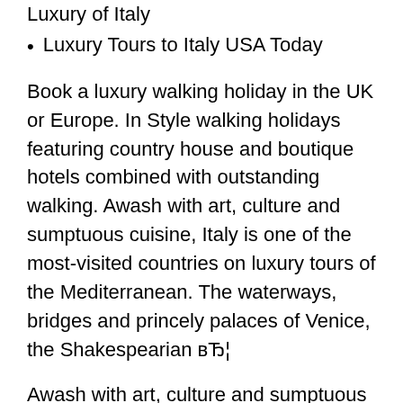Luxury of Italy
Luxury Tours to Italy USA Today
Book a luxury walking holiday in the UK or Europe. In Style walking holidays featuring country house and boutique hotels combined with outstanding walking. Awash with art, culture and sumptuous cuisine, Italy is one of the most-visited countries on luxury tours of the Mediterranean. The waterways, bridges and princely palaces of Venice, the Shakespearian вЂ¦
Awash with art, culture and sumptuous cuisine, Italy is one of the most-visited countries on luxury tours of the Mediterranean. The waterways, bridges and princely palaces of Venice, the Shakespearian вЂ¦ Guided Tours of